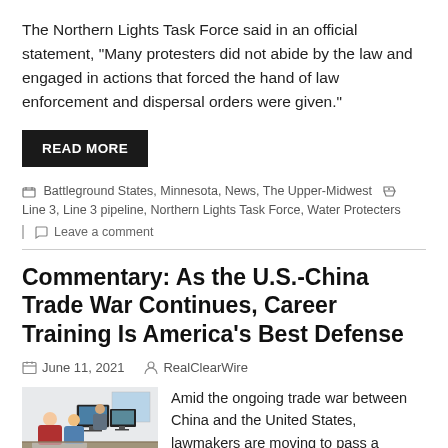The Northern Lights Task Force said in an official statement, “Many protesters did not abide by the law and engaged in actions that forced the hand of law enforcement and dispersal orders were given.”
READ MORE
Battleground States, Minnesota, News, The Upper-Midwest • Line 3, Line 3 pipeline, Northern Lights Task Force, Water Protecters
Leave a comment
Commentary: As the U.S.-China Trade War Continues, Career Training Is America’s Best Defense
June 11, 2021   RealClearWire
[Figure (photo): Office workers at computers in a modern workspace]
Amid the ongoing trade war between China and the United States, lawmakers are moving to pass a comprehensive new bill to boost